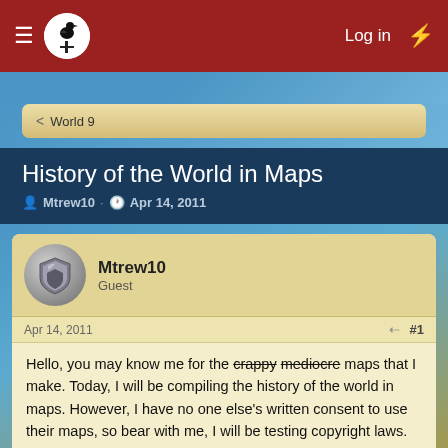≡  [logo]  Log in  ⚡
< World 9
History of the World in Maps
Mtrew10 · Apr 14, 2011
Mtrew10
Guest
Apr 14, 2011  #1
Hello, you may know me for the crappy mediocre maps that I make. Today, I will be compiling the history of the world in maps. However, I have no one else's written consent to use their maps, so bear with me, I will be testing copyright laws.

In the beginning, there was matter and energy. This matter and energy was exploited by people, who created... Tribes. Sorry, had to do that.
Did you know you can also visit us on our Discord chat? Come and